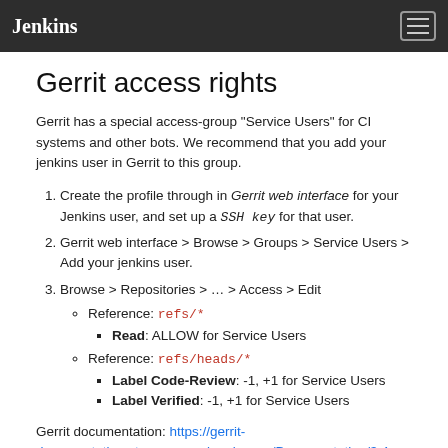Jenkins
Gerrit access rights
Gerrit has a special access-group "Service Users" for CI systems and other bots. We recommend that you add your jenkins user in Gerrit to this group.
1. Create the profile through in Gerrit web interface for your Jenkins user, and set up a SSH key for that user.
2. Gerrit web interface > Browse > Groups > Service Users > Add your jenkins user.
3. Browse > Repositories > ... > Access > Edit
Reference: refs/*
Read: ALLOW for Service Users
Reference: refs/heads/*
Label Code-Review: -1, +1 for Service Users
Label Verified: -1, +1 for Service Users
Gerrit documentation: https://gerrit-documentation.storage.googleapis.com/Documentation/3.4...